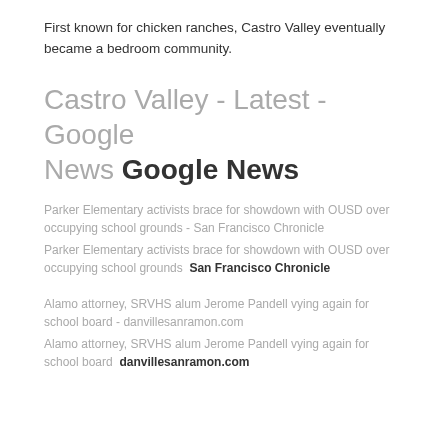First known for chicken ranches, Castro Valley eventually became a bedroom community.
Castro Valley - Latest - Google News Google News
Parker Elementary activists brace for showdown with OUSD over occupying school grounds - San Francisco Chronicle
Parker Elementary activists brace for showdown with OUSD over occupying school grounds  San Francisco Chronicle
Alamo attorney, SRVHS alum Jerome Pandell vying again for school board - danvillesanramon.com
Alamo attorney, SRVHS alum Jerome Pandell vying again for school board  danvillesanramon.com